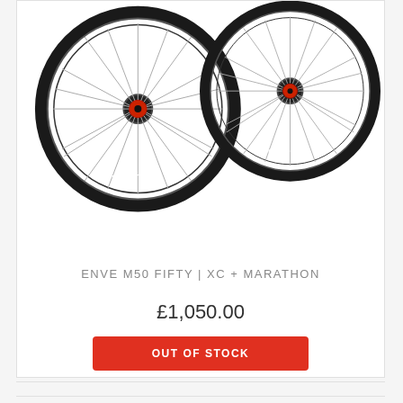[Figure (photo): Two ENVE M50 carbon bicycle wheels side by side, black rims with white ENVE lettering, showing spokes and red hubs, photographed on white background]
ENVE M50 FIFTY | XC + MARATHON
£1,050.00
OUT OF STOCK